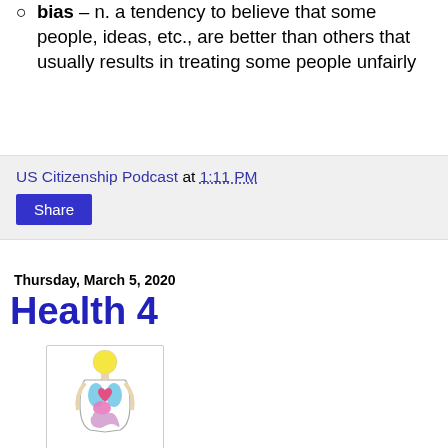bias – n. a tendency to believe that some people, ideas, etc., are better than others that usually results in treating some people unfairly
US Citizenship Podcast at 1:11 PM
Share
Thursday, March 5, 2020
Health 4
[Figure (illustration): Illustration of a human body showing major internal organs in color (brain, heart, lungs, stomach, intestines) with a yellow head]
Major Body Organs